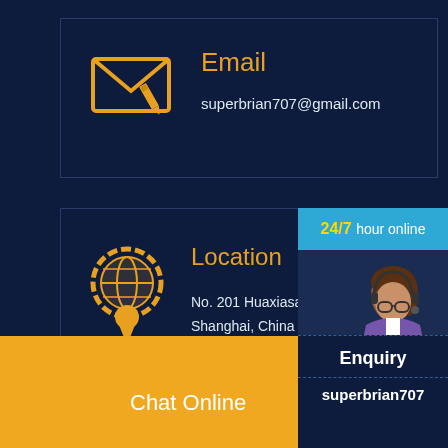[Figure (illustration): Yellow envelope/email icon with pencil overlay]
Email
superbrian707@gmail.com
[Figure (illustration): Yellow gear/globe with location pin icon]
Location
No. 201 Huaxiasanlu road
Shanghai, China
[Figure (illustration): 24/7 hour online support agent with chat bubble and clock]
24/7 hour online
Click me to chat
Enquiry
superbrian707
Chat Online